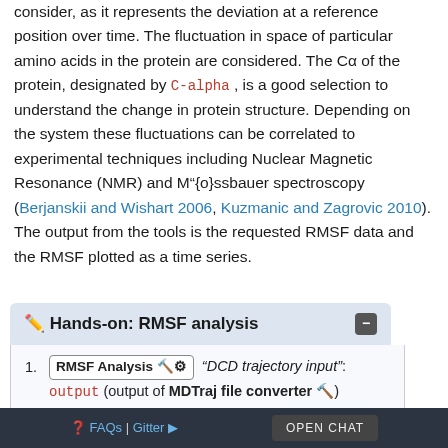consider, as it represents the deviation at a reference position over time. The fluctuation in space of particular amino acids in the protein are considered. The Cα of the protein, designated by C-alpha , is a good selection to understand the change in protein structure. Depending on the system these fluctuations can be correlated to experimental techniques including Nuclear Magnetic Resonance (NMR) and M"{o}ssbauer spectroscopy (Berjanskii and Wishart 2006, Kuzmanic and Zagrovic 2010). The output from the tools is the requested RMSF data and the RMSF plotted as a time series.
✏ Hands-on: RMSF analysis
1. RMSF Analysis 🔧⚙ "DCD trajectory input": output (output of MDTraj file converter 🔧)
○ 📄 "PDB input": output (output of GROMACS structure configuration 🔧)
○ "Select domains": C-alpha
❓ FAQs | Gitter ...